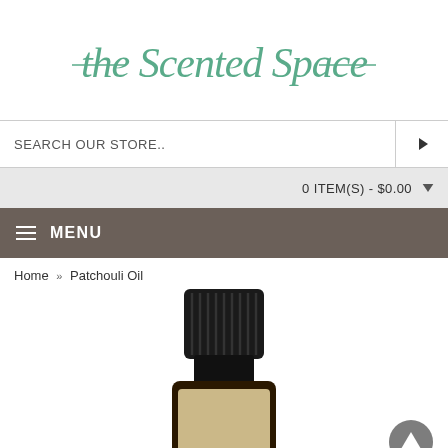[Figure (logo): The Scented Space cursive logo in teal/green color]
SEARCH OUR STORE..
0 ITEM(S) - $0.00
MENU
Home » Patchouli Oil
[Figure (photo): A small dark amber essential oil bottle with black ribbed cap, partially visible label, photographed on white background]